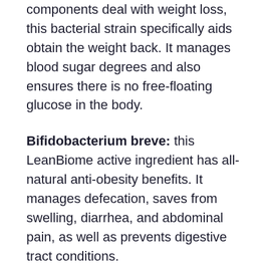components deal with weight loss, this bacterial strain specifically aids obtain the weight back. It manages blood sugar degrees and also ensures there is no free-floating glucose in the body.
Bifidobacterium breve: this LeanBiome active ingredient has all-natural anti-obesity benefits. It manages defecation, saves from swelling, diarrhea, and abdominal pain, as well as prevents digestive tract conditions.
Bifidobacterium lactis: next in LeanBiome ingredients is Bifidobacterium lactis, which minimizes belly fat. It additionally saves from digestion problems, especially in younger adults.
Lactobacillus Pl...